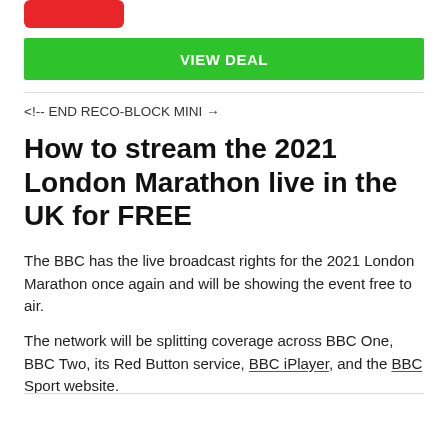[Figure (other): Red pill-shaped logo/button at top left]
VIEW DEAL
<!-- END RECO-BLOCK MINI →
How to stream the 2021 London Marathon live in the UK for FREE
The BBC has the live broadcast rights for the 2021 London Marathon once again and will be showing the event free to air.
The network will be splitting coverage across BBC One, BBC Two, its Red Button service, BBC iPlayer, and the BBC Sport website.